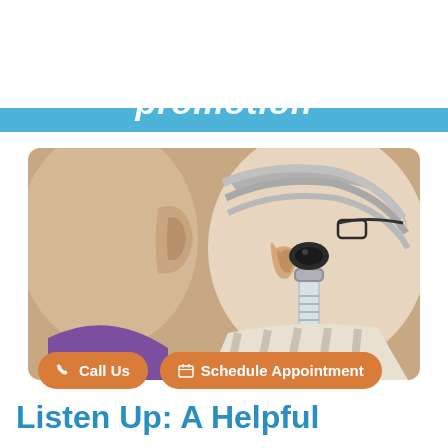[Figure (logo): Audibel logo — stylized green leaves above 'AUDIBEL.' text and tagline 'American Hearing Excellence.']
[Figure (other): Orange circular hamburger/menu button with three white horizontal lines]
promotion
[Figure (photo): A hearing care professional examining an elderly patient's ear with an otoscope. Close-up view showing the instrument inserted near the patient's ear, patient wearing glasses.]
Call Us
Schedule Appointment
Listen Up: A Helpful